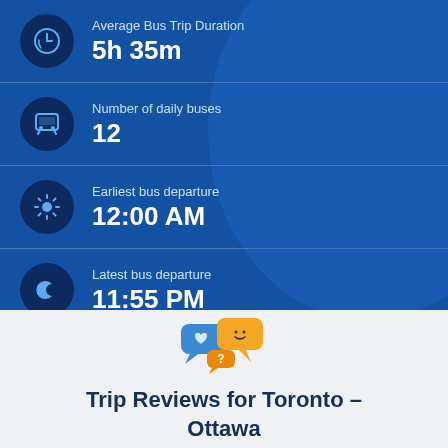Average Bus Trip Duration
5h 35m
Number of daily buses
12
Earliest bus departure
12:00 AM
Latest bus departure
11:55 PM
[Figure (illustration): Chat bubble icons in blue and orange with emoji faces]
Trip Reviews for Toronto - Ottawa